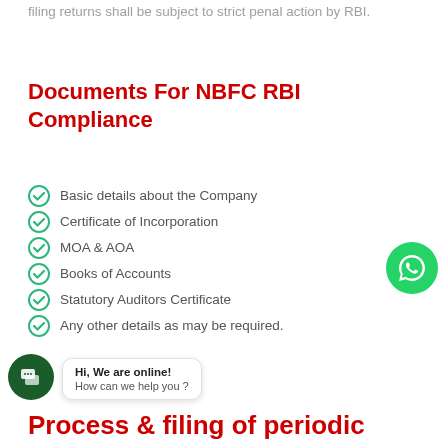filing returns shall be subject to strict penal action by RBI.
Documents For NBFC RBI Compliance
Basic details about the Company
Certificate of Incorporation
MOA & AOA
Books of Accounts
Statutory Auditors Certificate
Any other details as may be required.
[Figure (other): WhatsApp contact button - green circle with WhatsApp phone/chat icon]
[Figure (other): Live chat widget - dark green circle icon with chat bubbles, and a white popup bubble saying 'Hi, We are online! How can we help you?']
Process & filing of periodic